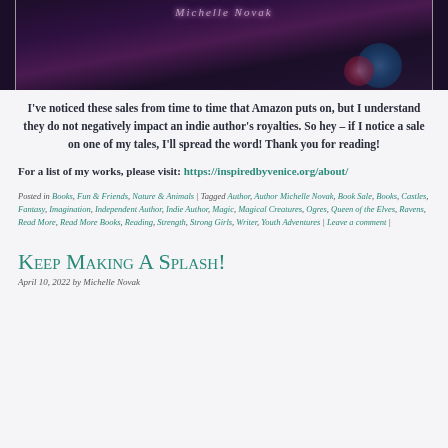[Figure (photo): Book cover photo showing a dark fantasy book cover with the author name Michelle Novak in stylized text, featuring dark tones with roses and fantasy imagery]
I've noticed these sales from time to time that Amazon puts on, but I understand they do not negatively impact an indie author's royalties. So hey – if I notice a sale on one of my tales, I'll spread the word! Thank you for reading!
For a list of my works, please visit: https://inspiredbyvenice.org/about/
Posted in Books, Fun & Friends, Nature & Animals | Tagged Author, Author Michelle Novak, Book Sale, Books, Castles, Fantasy, Imagination, Independent Author, Indie Author, Magic, Magical Creatures, Ogres, Queen of the Elves, Ravens, Read More, Read More Books, Reading, Strength, Strong Girls, Writer, Youth Adventures | Leave a comment |
Keep Making A Splash!
April 10, 2022 by Michelle Novak